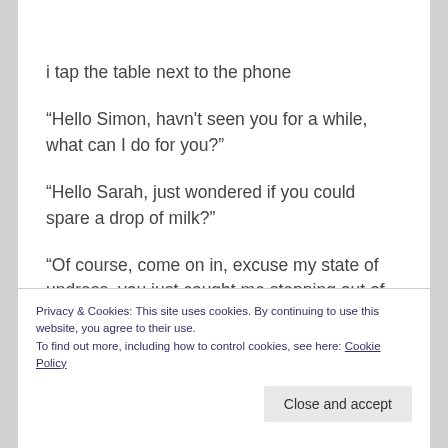i tap the table next to the phone
“Hello Simon, havn't seen you for a while, what can I do for you?”
“Hello Sarah, just wondered if you could spare a drop of milk?”
“Of course, come on in, excuse my state of undress, you just caught me stepping out of the shower , the towel only just covers my modesty I'm afraid”
Privacy & Cookies: This site uses cookies. By continuing to use this website, you agree to their use.
To find out more, including how to control cookies, see here: Cookie Policy